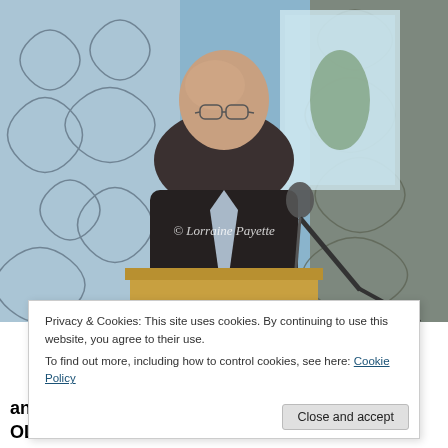[Figure (photo): A bald man wearing glasses and a dark suit speaking at a podium with a microphone. Decorative curtain with scrollwork pattern visible in background. Watermark reads '© Lorraine Payette'. Photo credit to Lorraine Payette.]
Privacy & Cookies: This site uses cookies. By continuing to use this website, you agree to their use.
To find out more, including how to control cookies, see here: Cookie Policy
Close and accept
and above-board and that the government and OLG are